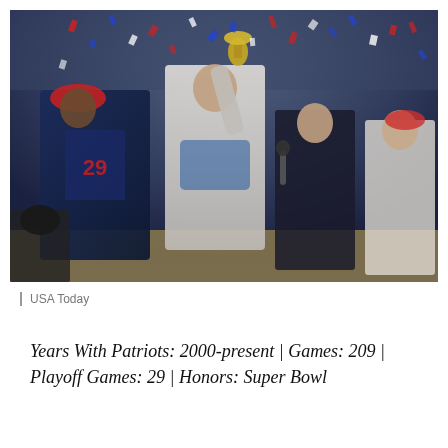[Figure (photo): A football player (wearing New England Patriots uniform number 29) and a quarterback in white championship t-shirt holding the Lombardi Trophy aloft on a podium, being interviewed, with confetti falling and team owner clapping in background. Super Bowl celebration scene.]
| USA Today
Years With Patriots: 2000-present | Games: 209 | Playoff Games: 29 | Honors: Super Bowl